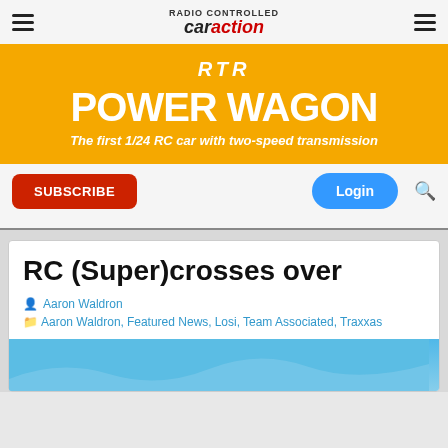RC Car Action — navigation header with hamburger menus and logo
[Figure (infographic): RTR POWER WAGON advertisement banner — orange background, white bold text reading 'RTR' then 'POWER WAGON' then italic 'The first 1/24 RC car with two-speed transmission']
SUBSCRIBE
Login
RC (Super)crosses over
Aaron Waldron
Aaron Waldron, Featured News, Losi, Team Associated, Traxxas